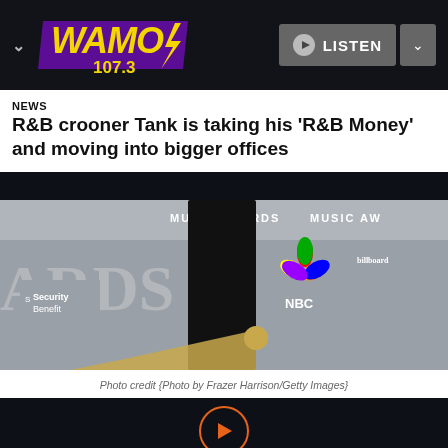WAMO 107.3 — Navigation bar with LISTEN button
NEWS
R&B crooner Tank is taking his 'R&B Money' and moving into bigger offices
[Figure (photo): Person in black dress at Billboard Music Awards red carpet event, with NBC and Security Benefit logos visible in background]
Photo credit {Photo by Frazer Harrison/Getty Images}